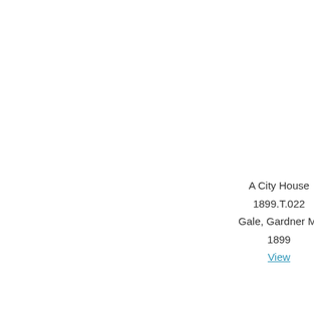A City House
1899.T.022
Gale, Gardner M.
1899
View
A Pu
Town Hall & Public Library
1899.T.025
To